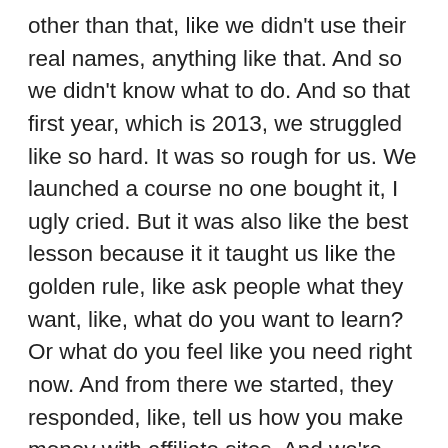other than that, like we didn't use their real names, anything like that. And so we didn't know what to do. And so that first year, which is 2013, we struggled like so hard. It was so rough for us. We launched a course no one bought it, I ugly cried. But it was also like the best lesson because it it taught us like the golden rule, like ask people what they want, like, what do you want to learn? Or what do you feel like you need right now. And from there we started, they responded, like, tell us how you make money with affiliate sites. And we're like, oh, ding. And so we created our first course for affiliate marketing, pre sold that learn that lesson as well. And then from there, things started to roll for us, we had our first $2,500 launch, and then did another one. And then our first like, $8,000 webinar was the second third